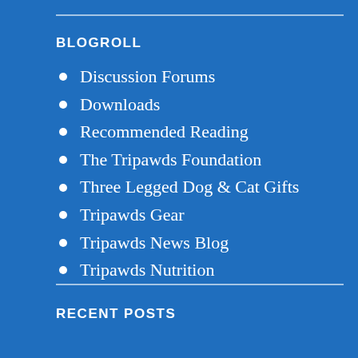BLOGROLL
Discussion Forums
Downloads
Recommended Reading
The Tripawds Foundation
Three Legged Dog & Cat Gifts
Tripawds Gear
Tripawds News Blog
Tripawds Nutrition
RECENT POSTS